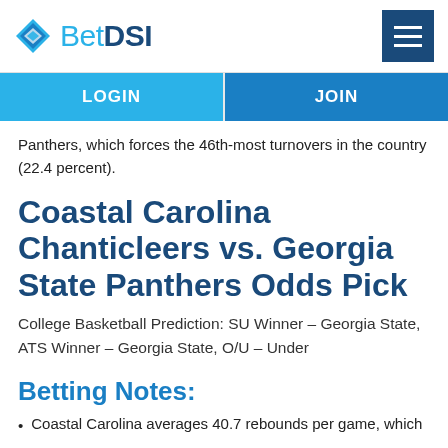BetDSI
Panthers, which forces the 46th-most turnovers in the country (22.4 percent).
Coastal Carolina Chanticleers vs. Georgia State Panthers Odds Pick
College Basketball Prediction: SU Winner – Georgia State, ATS Winner – Georgia State, O/U – Under
Betting Notes:
Coastal Carolina averages 40.7 rebounds per game, which